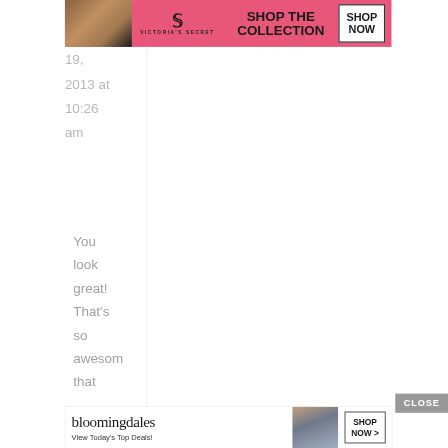[Figure (screenshot): Victoria's Secret advertisement banner at top: pink background with model photo on left, VS logo in center, 'SHOP THE COLLECTION' text, white 'SHOP NOW' button on right]
19, 2013 at 10:26 am
You look great! That's so awesome that
[Figure (screenshot): Bloomingdale's advertisement banner at bottom: white background with bloomingdales logo, 'View Today's Top Deals!' text, model photo with floppy hat, 'SHOP NOW >' button]
CLOSE